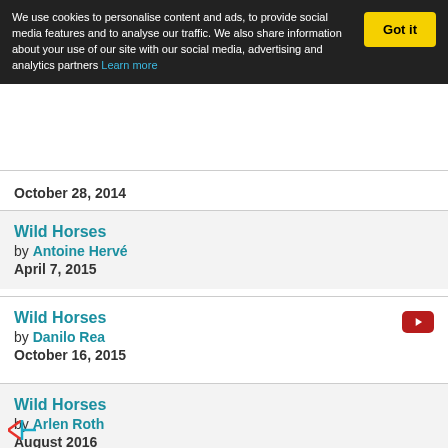We use cookies to personalise content and ads, to provide social media features and to analyse our traffic. We also share information about your use of our site with our social media, advertising and analytics partners Learn more
October 28, 2014
Wild Horses
by Antoine Hervé
April 7, 2015
Wild Horses
by Danilo Rea
October 16, 2015
Wild Horses
by Arlen Roth
August 2016
Acoustic